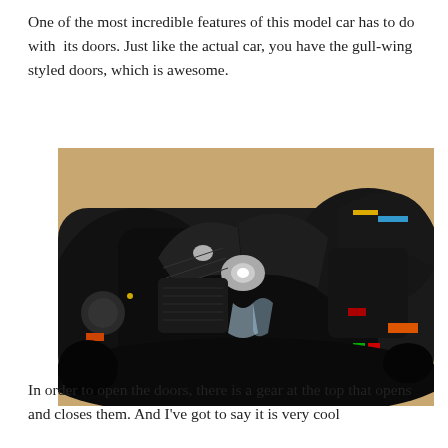One of the most incredible features of this model car has to do with its doors. Just like the actual car, you have the gull-wing styled doors, which is awesome.
[Figure (photo): Close-up photograph of a black LEGO model car (Batmobile) with gull-wing doors open, showing detailed interior and exterior parts, placed on a wooden surface.]
In order to open the doors, there is a gear at the top that opens and closes them. And I've got to say it is very cool